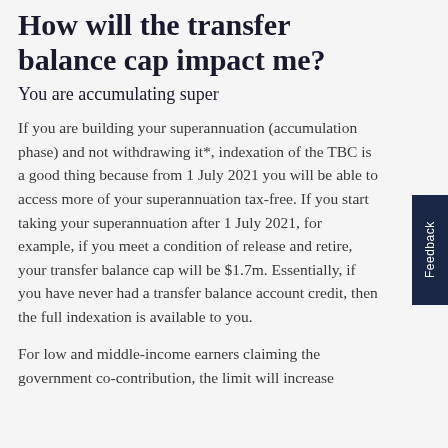How will the transfer balance cap impact me?
You are accumulating super
If you are building your superannuation (accumulation phase) and not withdrawing it*, indexation of the TBC is a good thing because from 1 July 2021 you will be able to access more of your superannuation tax-free. If you start taking your superannuation after 1 July 2021, for example, if you meet a condition of release and retire, your transfer balance cap will be $1.7m. Essentially, if you have never had a transfer balance account credit, then the full indexation is available to you.
For low and middle-income earners claiming the government co-contribution, the limit will increase